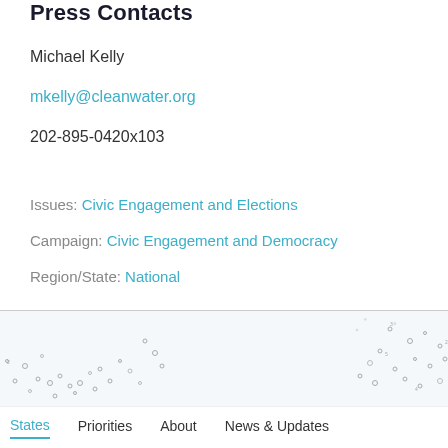Press Contacts
Michael Kelly
mkelly@cleanwater.org
202-895-0420x103
Issues: Civic Engagement and Elections
Campaign: Civic Engagement and Democracy
Region/State: National
[Figure (map): Partially visible US map with small dot markers scattered across states]
States  Priorities  About  News & Updates